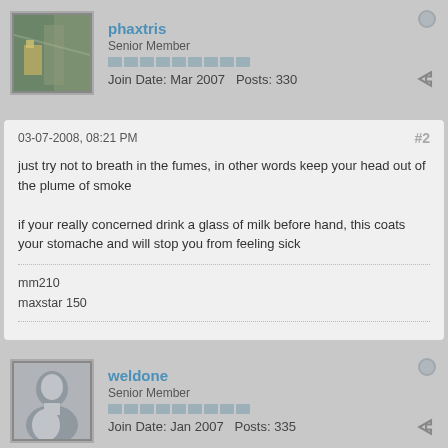phaxtris
Senior Member
Join Date: Mar 2007   Posts: 330
03-07-2008, 08:21 PM
#2
just try not to breath in the fumes, in other words keep your head out of the plume of smoke

if your really concerned drink a glass of milk before hand, this coats your stomache and will stop you from feeling sick
mm210
maxstar 150
weldone
Senior Member
Join Date: Jan 2007   Posts: 335
03-07-2008, 08:38 PM
#3